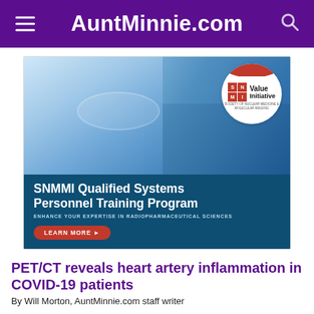AuntMinnie.com
[Figure (illustration): SNMMI Value Initiative advertisement for SNMMI Qualified Systems Personnel Training Program. Shows a scientist in blue gloves and protective gear. Text reads: SNMMI Qualified Systems Personnel Training Program. ENHANCE YOUR EXPERTISE IN RADIOPHARMACEUTICAL SCIENCES. LEARN MORE button.]
PET/CT reveals heart artery inflammation in COVID-19 patients
By Will Morton, AuntMinnie.com staff writer